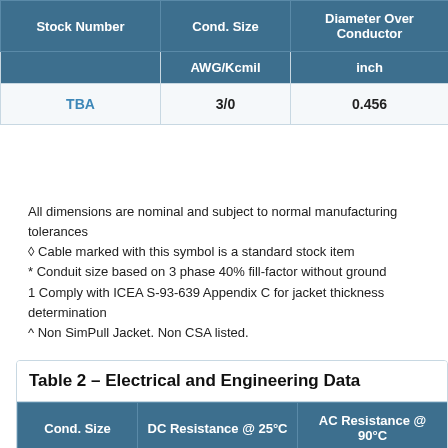| Stock Number | Cond. Size
AWG/Kcmil | Diameter Over Conductor
inch | Dia... |
| --- | --- | --- | --- |
| TBA | 3/0 | 0.456 |  |
All dimensions are nominal and subject to normal manufacturing tolerances
◊ Cable marked with this symbol is a standard stock item
* Conduit size based on 3 phase 40% fill-factor without ground
1 Comply with ICEA S-93-639 Appendix C for jacket thickness determination
^ Non SimPull Jacket. Non CSA listed.
Table 2 – Electrical and Engineering Data
| Cond. Size
AWG/Kcmil | DC Resistance @ 25°C
Ω/1000ft | AC Resistance @ 90°C
Ω/1000ft |
| --- | --- | --- |